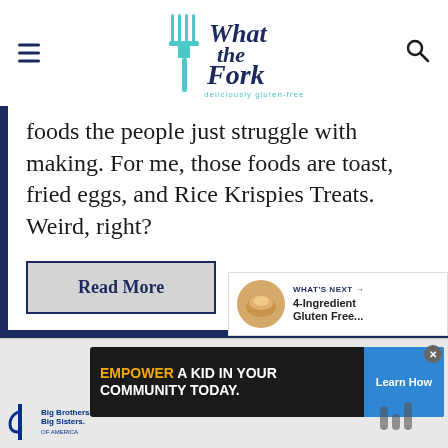[Figure (logo): What the Fork – deliciously gluten-free logo with teal fork graphic and navy blue handwritten text]
foods the people just struggle with making. For me, those foods are toast, fried eggs, and Rice Krispies Treats. Weird, right?
Read More
[Figure (infographic): WHAT'S NEXT panel showing 4-Ingredient Gluten Free... with food thumbnail]
[Figure (infographic): Advertisement: EMPOWER A KID IN YOUR COMMUNITY TODAY. with Big Brothers Big Sisters logo and Learn How button]